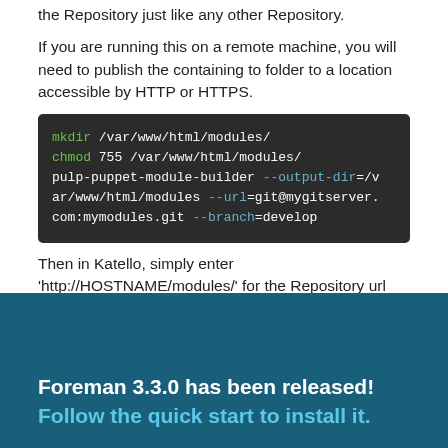the Repository just like any other Repository.
If you are running this on a remote machine, you will need to publish the containing to folder to a location accessible by HTTP or HTTPS.
mkdir /var/www/html/modules/
chmod 755 /var/www/html/modules/
pulp-puppet-module-builder --output-dir=/var/www/html/modules --url=git@mygitserver.com:mymodules.git --branch=develop
Then in Katello, simply enter 'http://HOSTNAME/modules/' for the Repository url and sync it like you normally would.
Foreman 3.3.0 has been released! Follow the quick start to install it.